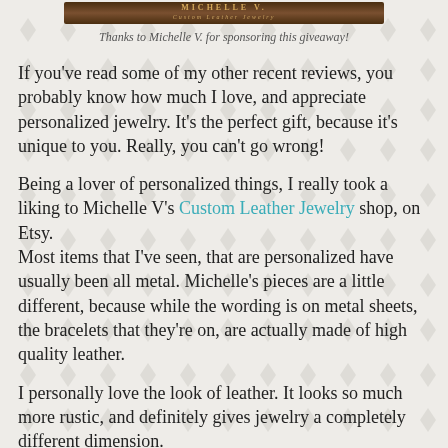[Figure (logo): Michelle V Custom Leather Jewelry logo banner — dark brown background with decorative text]
Thanks to Michelle V. for sponsoring this giveaway!
If you've read some of my other recent reviews, you probably know how much I love, and appreciate personalized jewelry. It's the perfect gift, because it's unique to you. Really, you can't go wrong!
Being a lover of personalized things, I really took a liking to Michelle V's Custom Leather Jewelry shop, on Etsy.
Most items that I've seen, that are personalized have usually been all metal. Michelle's pieces are a little different, because while the wording is on metal sheets, the bracelets that they're on, are actually made of high quality leather.
I personally love the look of leather. It looks so much more rustic, and definitely gives jewelry a completely different dimension.
Like I also said, the other day, lately I have really been drawn to bracelets. I have few in my jewelry collection, and have been actively seeking to expand my collection.